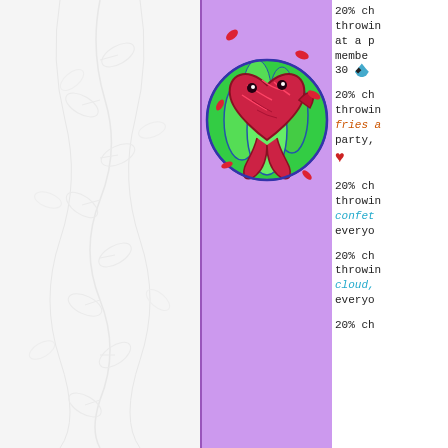[Figure (illustration): Left panel with light gray leaf/vine decorative background pattern on white]
[Figure (illustration): Center panel with purple background showing a colorful illustration of a red heart-shaped fish inside a green globe/flame ball, with red petal-like shapes floating around]
20% ch throwing at a p membe 30
20% ch throwin fries a party,
20% ch throwin confet everyo
20% ch throwin cloud, everyo
20% ch